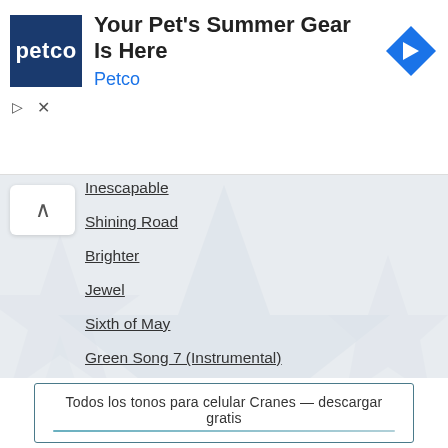[Figure (other): Petco advertisement banner with logo, headline 'Your Pet's Summer Gear Is Here', link 'Petco', navigation arrow icon, and ad controls]
Inescapable
Shining Road
Brighter
Jewel
Sixth of May
Green Song 7 (Instrumental)
Lilies
Trumpet Song
Wires
Todos los tonos para celular Cranes — descargar gratis